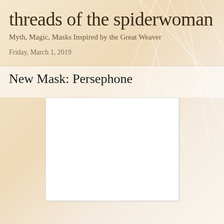threads of the spiderwoman
Myth, Magic, Masks Inspired by the Great Weaver
Friday, March 1, 2019
New Mask: Persephone
[Figure (photo): White/blank rectangular image placeholder for the Persephone mask photograph]